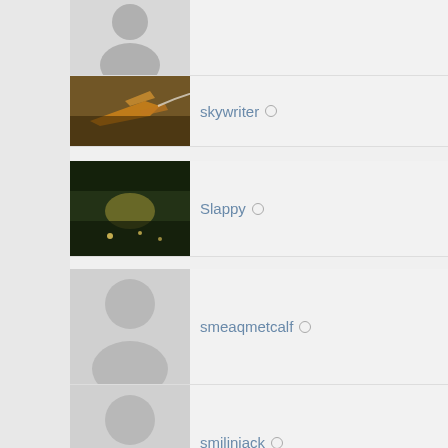skywriter ○
Slappy ○
smeaqmetcalf ○
smilinjack ○
sniffler ○
sodak ○
sohc427mt ○